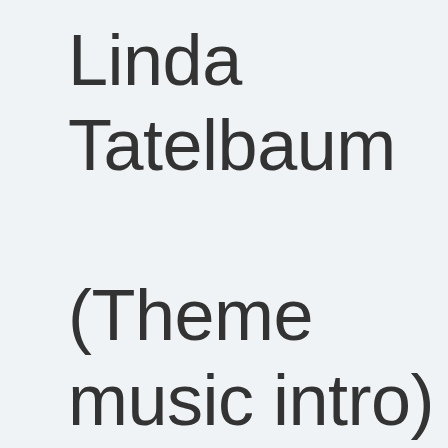Linda Tatelbaum (Theme music intro)